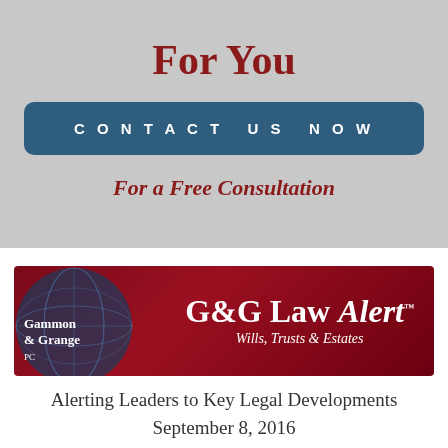For You
CONTACT US NOW
For a Free Consultation
[Figure (logo): G&G Law Alert banner with Gammon & Grange logo and globe image. Dark red/maroon background. Text reads: G&G Law Alert TM, Wills, Trusts & Estates]
Alerting Leaders to Key Legal Developments
September 8, 2016